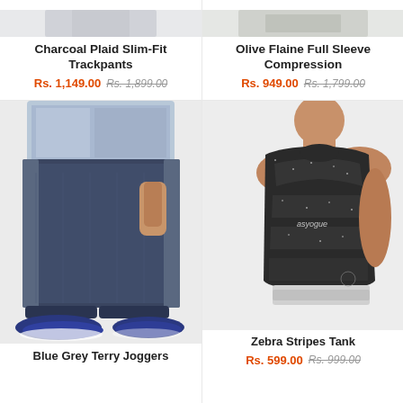[Figure (photo): Partial top view of Charcoal Plaid Slim-Fit Trackpants product image]
Charcoal Plaid Slim-Fit Trackpants
Rs. 1,149.00 Rs. 1,899.00
[Figure (photo): Partial top view of Olive Flaine Full Sleeve Compression product image]
Olive Flaine Full Sleeve Compression
Rs. 949.00 Rs. 1,799.00
[Figure (photo): Full product photo of Blue Grey Terry Joggers worn by male model]
Blue Grey Terry Joggers
[Figure (photo): Product photo of Zebra Stripes Tank worn by male model]
Zebra Stripes Tank
Rs. 599.00 Rs. 999.00